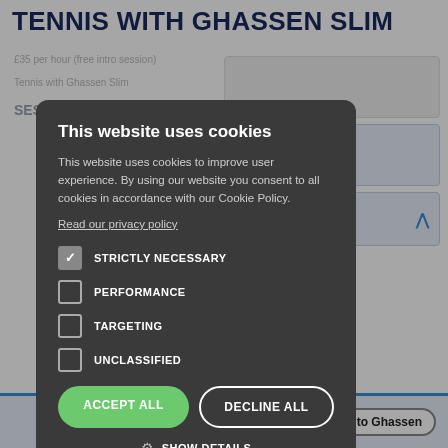TENNIS WITH GHASSEN SLIM
£35 per hour (free intro session)
Tennis with Ghassen Slim
SESSION OVERVIEW
This website uses cookies
This website uses cookies to improve user experience. By using our website you consent to all cookies in accordance with our Cookie Policy.
Read our privacy policy
STRICTLY NECESSARY
PERFORMANCE
TARGETING
UNCLASSIFIED
ACCEPT ALL
DECLINE ALL
SHOW DETAILS
POWERED BY COOKIESCRIPT
Talk to Ghassen